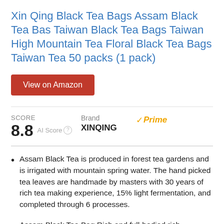Xin Qing Black Tea Bags Assam Black Tea Bas Taiwan Black Tea Bags Taiwan High Mountain Tea Floral Black Tea Bags Taiwan Tea 50 packs (1 pack)
View on Amazon
SCORE 8.8 AI Score   Brand XINQING  ✓Prime
Assam Black Tea is produced in forest tea gardens and is irrigated with mountain spring water. The hand picked tea leaves are handmade by masters with 30 years of rich tea making experience, 15% light fermentation, and completed through 6 processes.
Assam Black Tea Bag Rich and full-bodied rich